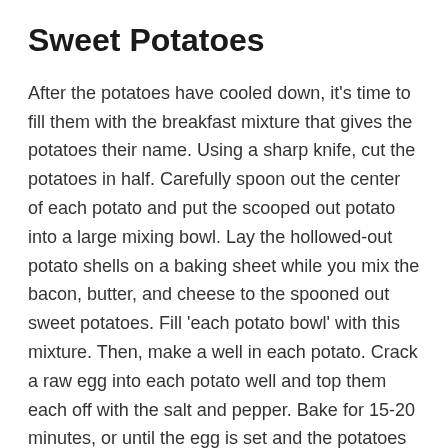Sweet Potatoes
After the potatoes have cooled down, it’s time to fill them with the breakfast mixture that gives the potatoes their name. Using a sharp knife, cut the potatoes in half. Carefully spoon out the center of each potato and put the scooped out potato into a large mixing bowl. Lay the hollowed-out potato shells on a baking sheet while you mix the bacon, butter, and cheese to the spooned out sweet potatoes. Fill ‘each potato bowl’ with this mixture. Then, make a well in each potato. Crack a raw egg into each potato well and top them each off with the salt and pepper. Bake for 15-20 minutes, or until the egg is set and the potatoes are warmed through. Garnish them with minced scallion, if you wish.